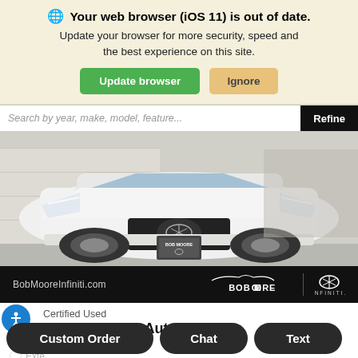🌐 Your web browser (iOS 11) is out of date. Update your browser for more security, speed and the best experience on this site.
Update browser | Ignore
Search by year, make, model, feature...  Refine
[Figure (photo): White 2021 INFINITI QX50 SUV front view at a dealership, with a Bob Moore INFINITI dealer plate, parked in a lot.]
BobMooreInfiniti.com  BOB MOORE | INFINITI
Certified Used
2021 INFINITI QX50 Autograph
Stock: PO...
Exterior:
Interior: Graphite
Custom Order  Chat  Text